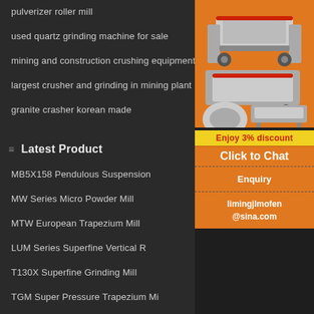pulverizer roller mill
used quartz grinding machine for sale
mining and construction crushing equipment
largest crusher and grinding in mining plant
granite crasher korean made
Latest Product
MB5X158 Pendulous Suspension
MW Series Micro Powder Mill
MTW European Trapezium Mill
LUM Series Superfine Vertical R
T130X Superfine Grinding Mill
TGM Super Pressure Trapezium Mi
Hot Case
[Figure (illustration): Orange advertisement banner showing mining/crushing machines with text 'Enjoy 3% discount', 'Click to Chat', 'Enquiry', and 'limingjlmofen@sina.com']